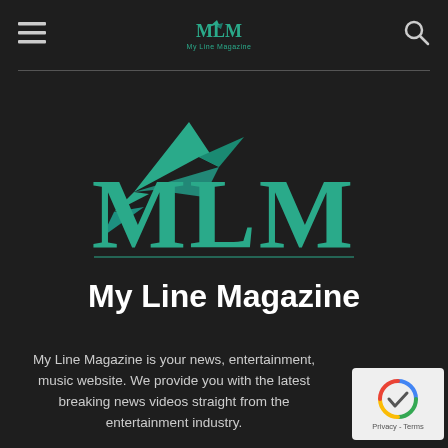MLM My Line Magazine
[Figure (logo): MLM My Line Magazine logo with teal bird/paper icon above large teal MLM letters and white 'My Line Magazine' text below, on dark background]
My Line Magazine is your news, entertainment, music website. We provide you with the latest breaking news videos straight from the entertainment industry.